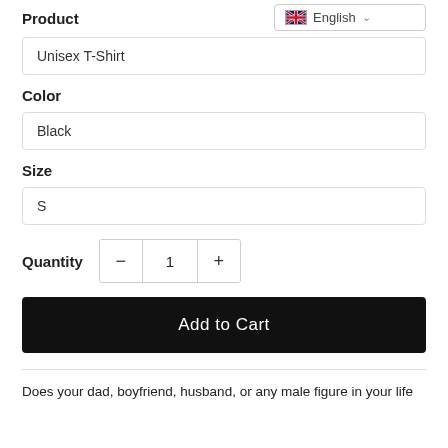Product
[Figure (screenshot): Language selector dropdown showing UK flag and 'English' with chevron]
Unisex T-Shirt
Color
Black
Size
S
Quantity  −  1  +
Add to Cart
Does your dad, boyfriend, husband, or any male figure in your life